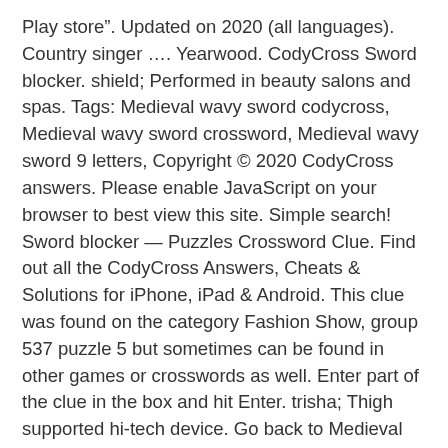Play store". Updated on 2020 (all languages). Country singer .... Yearwood. CodyCross Sword blocker. shield; Performed in beauty salons and spas. Tags: Medieval wavy sword codycross, Medieval wavy sword crossword, Medieval wavy sword 9 letters, Copyright © 2020 CodyCross answers. Please enable JavaScript on your browser to best view this site. Simple search! Sword blocker — Puzzles Crossword Clue. Find out all the CodyCross Answers, Cheats & Solutions for iPhone, iPad & Android. This clue was found on the category Fashion Show, group 537 puzzle 5 but sometimes can be found in other games or crosswords as well. Enter part of the clue in the box and hit Enter. trisha; Thigh supported hi-tech device. Go back to Medieval Times Group 224 Puzzle 4 (3666 votes, average: 2,60 out of 5) Loading… Loading comments…please wait… CodyCross.info is not